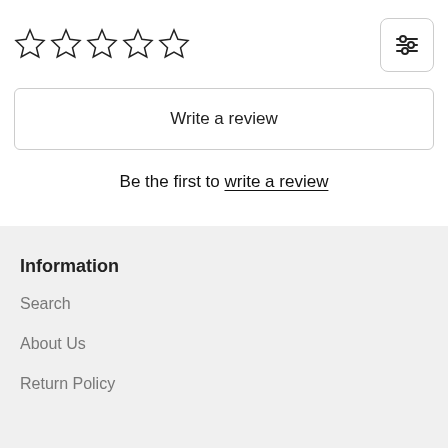[Figure (other): Five empty star rating icons in a row]
[Figure (other): Filter/settings icon button with three horizontal sliders]
Write a review
Be the first to write a review
Information
Search
About Us
Return Policy